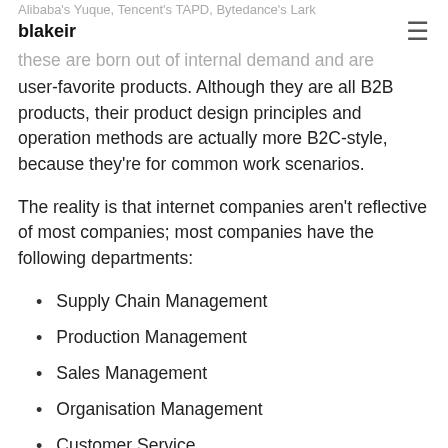blakeir
Alibaba's Yuque, Tencent's TAPD, Bytedance's Lark — these are born out of internal demand and are user-favorite products. Although they are all B2B products, their product design principles and operation methods are actually more B2C-style, because they're for common work scenarios.
The reality is that internet companies aren't reflective of most companies; most companies have the following departments:
Supply Chain Management
Production Management
Sales Management
Organisation Management
Customer Service
Process Management
Relative to a startup, big tech can't do as well in terms of product, because they have to serve a lot of